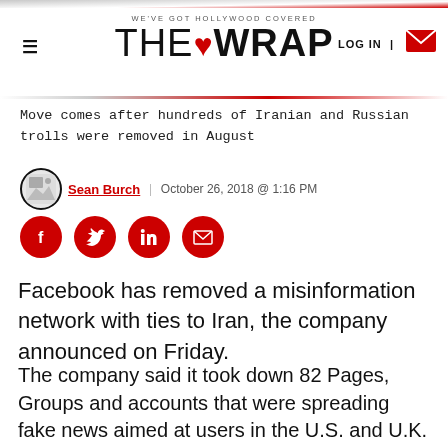WE'VE GOT HOLLYWOOD COVERED — THE WRAP
Move comes after hundreds of Iranian and Russian trolls were removed in August
Sean Burch | October 26, 2018 @ 1:16 PM
[Figure (infographic): Social share buttons: Facebook, Twitter, LinkedIn, Email]
Facebook has removed a misinformation network with ties to Iran, the company announced on Friday.
The company said it took down 82 Pages, Groups and accounts that were spreading fake news aimed at users in the U.S. and U.K. “About 1.02 million” users followed at least one of these accounts, according to a blog post from Nathaniel Gleicher, Facebook’s head of cybersecurity policy. The misinformation